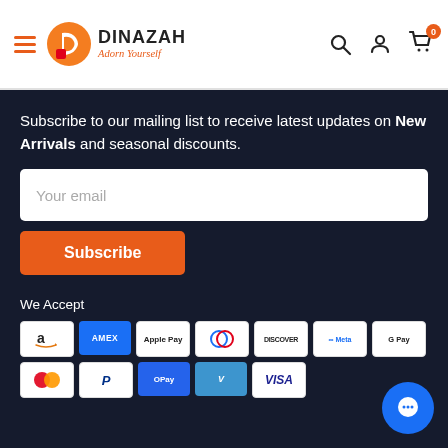[Figure (logo): Dinazah logo with orange D icon and text 'DINAZAH Adorn Yourself' and navigation icons]
Subscribe to our mailing list to receive latest updates on New Arrivals and seasonal discounts.
Your email
Subscribe
We Accept
[Figure (infographic): Payment method icons: Amazon, Amex, Apple Pay, Diners Club, Discover, Meta Pay, Google Pay, Mastercard, PayPal, OPay, Venmo, Visa]